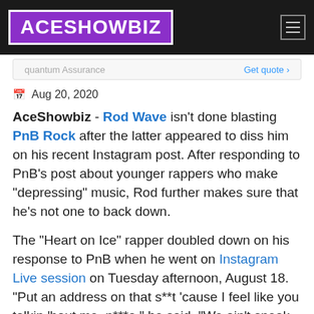ACESHOWBIZ
quantum Assurance   Get quote ›
Aug 20, 2020
AceShowbiz - Rod Wave isn't done blasting PnB Rock after the latter appeared to diss him on his recent Instagram post. After responding to PnB's post about younger rappers who make "depressing" music, Rod further makes sure that he's not one to back down.
The "Heart on Ice" rapper doubled down on his response to PnB when he went on Instagram Live session on Tuesday afternoon, August 18. "Put an address on that s**t 'cause I feel like you talkin 'bout me, n***a," he said. "We ain't sneak dissin'. If I feel a